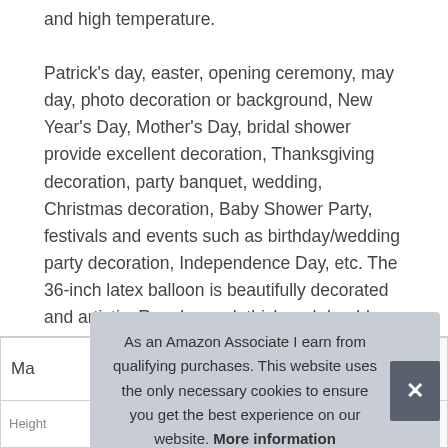and high temperature.
Patrick's day, easter, opening ceremony, may day, photo decoration or background, New Year's Day, Mother's Day, bridal shower provide excellent decoration, Thanksgiving decoration, party banquet, wedding, Christmas decoration, Baby Shower Party, festivals and events such as birthday/wedding party decoration, Independence Day, etc. The 36-inch latex balloon is beautifully decorated and artistic. Regular oval, thick and durable, biodegradable, harmless to the environment. It weighs 25 grams.
| Ma |
| --- |
| ... |
As an Amazon Associate I earn from qualifying purchases. This website uses the only necessary cookies to ensure you get the best experience on our website. More information